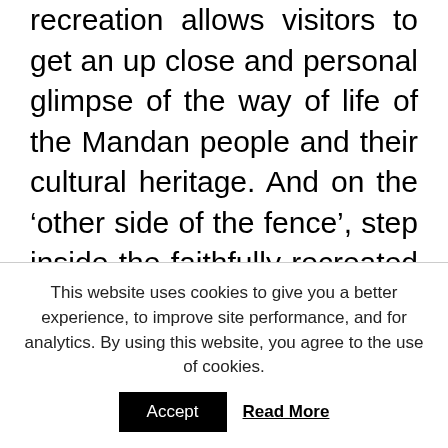recreation allows visitors to get an up close and personal glimpse of the way of life of the Mandan people and their cultural heritage. And on the ‘other side of the fence’, step inside the faithfully recreated General and Mrs Custer’s house with an army aide. He will show you around while they are out; all taking place as if you are really back in their day (rookie tip: don’t mention mobile phones). Ask all the questions you want and check out exactly how a General lived back in the 1800s.
This website uses cookies to give you a better experience, to improve site performance, and for analytics. By using this website, you agree to the use of cookies.